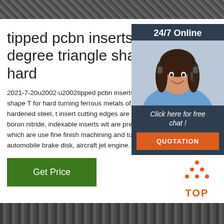[Figure (photo): Metal rebar/steel texture at top of page]
tipped pcbn inserts in 60 degree triangle shape T for hard
2021-7-20u2002·u2002tipped pcbn inserts in 60 degree triangle shape T for hard turning ferrous metals of cast iron and hardened steel, the cbn insert cutting edges are made with polycrystalline cubic boron nitride, indexable inserts with cbn tips are precision cutting tools, which are used in cnc fine finish machining and turning roller, bearing, pumps, automobile brake disk, aircraft jet engine.
[Figure (other): 24/7 Online customer service panel with woman wearing headset, click here for free chat button, and QUOTATION orange button]
[Figure (other): Get Price green button]
[Figure (other): TOP logo in orange dots]
[Figure (photo): Metal rebar/steel texture at bottom of page]